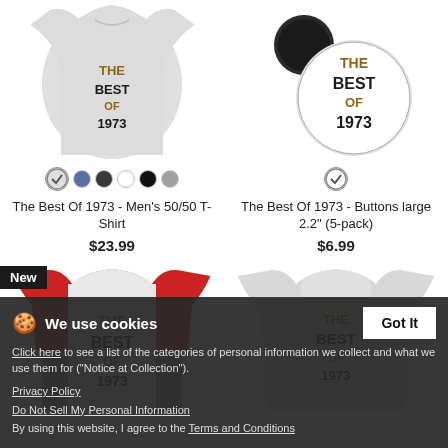[Figure (photo): The Best Of 1973 Men's 50/50 T-Shirt product image, light grey shirt]
[Figure (photo): The Best Of 1973 Buttons large 2.2 inch (5-pack) product image, buttons with text]
The Best Of 1973 - Men's 50/50 T-Shirt
$23.99
The Best Of 1973 - Buttons large 2.2" (5-pack)
$6.99
New
[Figure (photo): The Best Of 1973 baseball raglan shirt, white body red sleeves]
[Figure (photo): The Best Of 1973 long sleeve shirt, light grey]
We use cookies
Click here to see a list of the categories of personal information we collect and what we use them for ("Notice at Collection").
Privacy Policy
Do Not Sell My Personal Information
By using this website, I agree to the Terms and Conditions